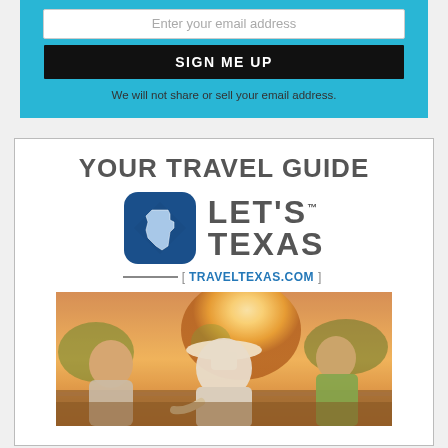Enter your email address
SIGN ME UP
We will not share or sell your email address.
YOUR TRAVEL GUIDE
[Figure (logo): Let's Texas logo with Texas state outline icon in blue rounded square, and bold text LET'S TEXAS]
TRAVELTEXAS.COM
[Figure (photo): People seated outdoors at a table viewed from behind, warm sunset lighting, person in white shirt and hat in center]